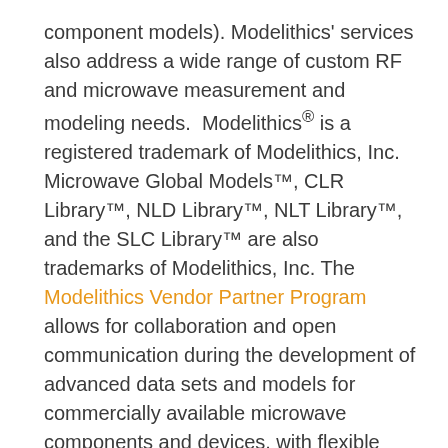component models). Modelithics' services also address a wide range of custom RF and microwave measurement and modeling needs. Modelithics® is a registered trademark of Modelithics, Inc. Microwave Global Models™, CLR Library™, NLD Library™, NLT Library™, and the SLC Library™ are also trademarks of Modelithics, Inc. The Modelithics Vendor Partner Program allows for collaboration and open communication during the development of advanced data sets and models for commercially available microwave components and devices, with flexible sponsorship and distribution arrangements for the resulting data and models. An example of such an arrangement is the Modelithics Qorvo GaN Library, a fully sponsored library distributed for free by Modelithics under sponsorship of Qorvo®.